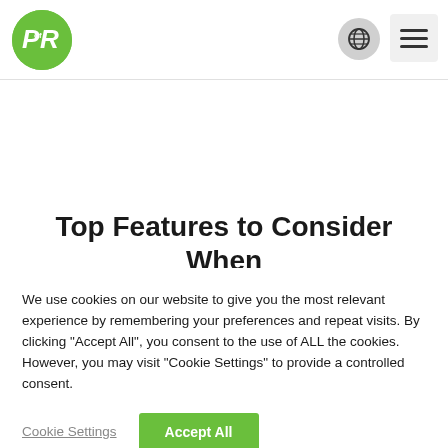[Figure (logo): PofR logo — green circle with white stylized PR letters and small 'of' text]
Top Features to Consider When
We use cookies on our website to give you the most relevant experience by remembering your preferences and repeat visits. By clicking "Accept All", you consent to the use of ALL the cookies. However, you may visit "Cookie Settings" to provide a controlled consent.